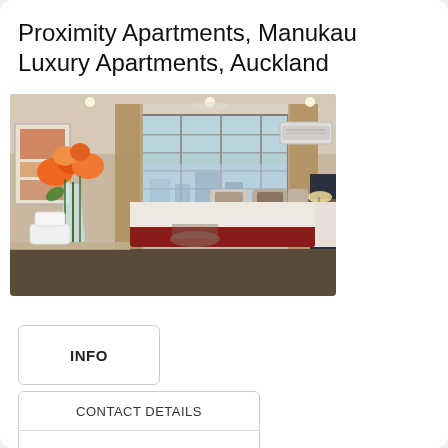Proximity Apartments, Manukau Luxury Apartments, Auckland
[Figure (photo): Interior photo of a luxury hotel/apartment bedroom with a large bed with red throw, decorative pillows, floor-to-ceiling glass windows with city view, orange floral arrangement on a table in the foreground, and air conditioning unit on the wall.]
INFO
CONTACT DETAILS
PLAN YOUR